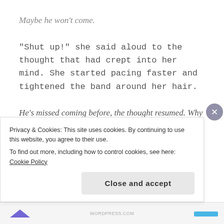Maybe he won't come.
"Shut up!" she said aloud to the thought that had crept into her mind. She started pacing faster and tightened the band around her hair.
He's missed coming before, the thought resumed. Why should today be any different?
"It will be different," she responded as she knelt to retrieve another cigarette from her bag on the
Privacy & Cookies: This site uses cookies. By continuing to use this website, you agree to their use.
To find out more, including how to control cookies, see here: Cookie Policy
Close and accept